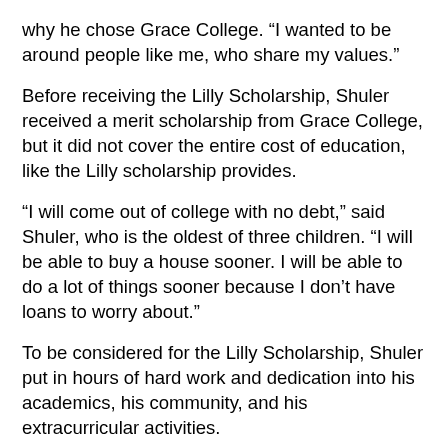why he chose Grace College. “I wanted to be around people like me, who share my values.”
Before receiving the Lilly Scholarship, Shuler received a merit scholarship from Grace College, but it did not cover the entire cost of education, like the Lilly scholarship provides.
“I will come out of college with no debt,” said Shuler, who is the oldest of three children. “I will be able to buy a house sooner. I will be able to do a lot of things sooner because I don’t have loans to worry about.”
To be considered for the Lilly Scholarship, Shuler put in hours of hard work and dedication into his academics, his community, and his extracurricular activities.
He is in the top 10 percent of his graduating class; is a member of the SHS golf, tennis, and academic teams; is a member of the Scott County Community Foundation Youth Grantmaking Council; participates in Band of